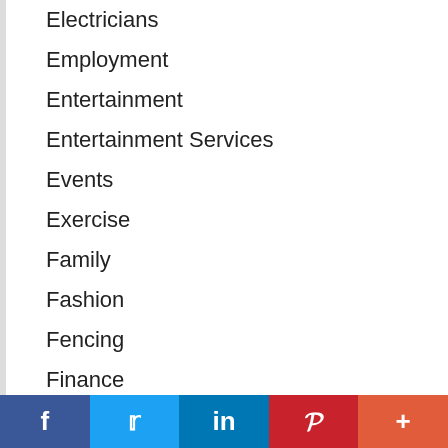Electricians
Employment
Entertainment
Entertainment Services
Events
Exercise
Family
Fashion
Fencing
Finance
Financing
Fishing
Fitness
Flowers
f  t  in  P  +